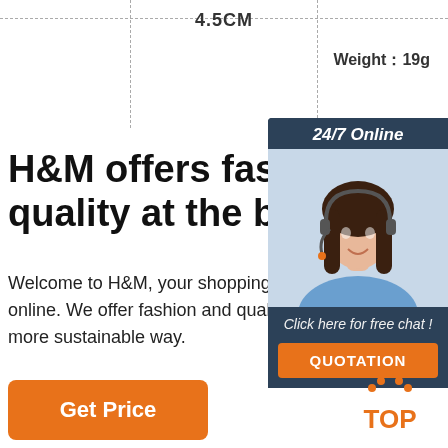4.5CM
Weight：19g
H&M offers fashion and quality at the best price
Welcome to H&M, your shopping destination for fashion online. We offer fashion and quality at the best price in a more sustainable way.
Get Price
[Figure (infographic): Customer service sidebar with '24/7 Online' header, photo of woman with headset, 'Click here for free chat!' text, and orange QUOTATION button]
[Figure (logo): Orange TOP logo with dot triangle above the letters]